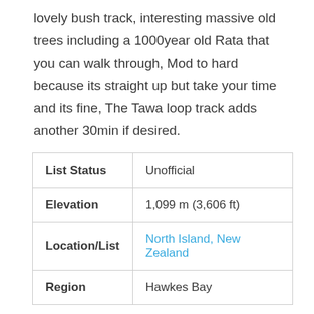lovely bush track, interesting massive old trees including a 1000year old Rata that you can walk through, Mod to hard because its straight up but take your time and its fine, The Tawa loop track adds another 30min if desired.
| List Status | Unofficial |
| Elevation | 1,099 m (3,606 ft) |
| Location/List | North Island, New Zealand |
| Region | Hawkes Bay |